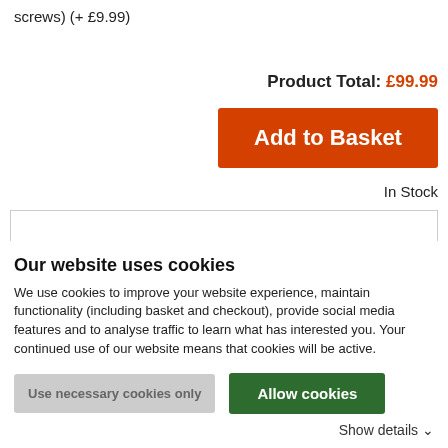screws) (+ £9.99)
Product Total: £99.99
Add to Basket
In Stock
[Figure (other): Empty white image/content box with thin grey border]
Our website uses cookies
We use cookies to improve your website experience, maintain functionality (including basket and checkout), provide social media features and to analyse traffic to learn what has interested you. Your continued use of our website means that cookies will be active.
Use necessary cookies only
Allow cookies
Show details